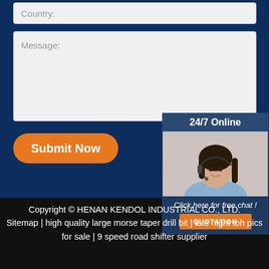[Figure (screenshot): Country input field with placeholder text 'Country:']
[Figure (screenshot): Message textarea with placeholder text 'Message:']
[Figure (screenshot): Orange 'Submit Now' button with rounded corners]
[Figure (screenshot): 24/7 Online chat widget with photo of woman wearing headset, 'Click here for free chat!' text and QUOTATION button]
Copyright © HENAN KENDOL INDUSTRIAL CO., LTD. Sitemap | high quality large morse taper drill bit | late night tbh pics for sale | 9 speed road shifter supplier